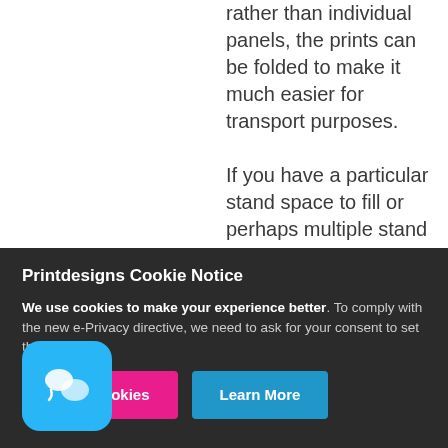rather than individual panels, the prints can be folded to make it much easier for transport purposes.

If you have a particular stand space to fill or perhaps multiple stand spaces, please contact
Printdesigns Cookie Notice
We use cookies to make your experience better. To comply with the new e-Privacy directive, we need to ask for your consent to set the cookies.
[Figure (other): Cookie consent buttons: pink 'Cookies' button with a cyan chat icon overlay, and a blue 'Learn More' button]